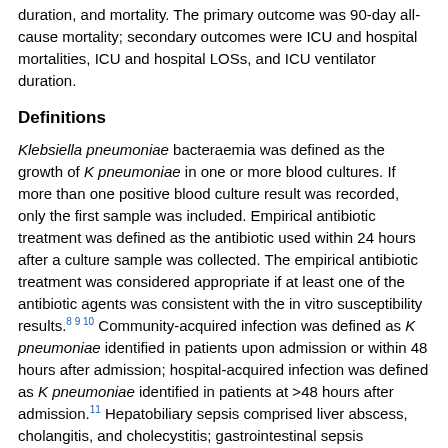intraipsis), ICU and hospital lengths of stay (LOSs), ICU ventilator duration, and mortality. The primary outcome was 90-day all-cause mortality; secondary outcomes were ICU and hospital mortalities, ICU and hospital LOSs, and ICU ventilator duration.
Definitions
Klebsiella pneumoniae bacteraemia was defined as the growth of K pneumoniae in one or more blood cultures. If more than one positive blood culture result was recorded, only the first sample was included. Empirical antibiotic treatment was defined as the antibiotic used within 24 hours after a culture sample was collected. The empirical antibiotic treatment was considered appropriate if at least one of the antibiotic agents was consistent with the in vitro susceptibility results.8 9 10 Community-acquired infection was defined as K pneumoniae identified in patients upon admission or within 48 hours after admission; hospital-acquired infection was defined as K pneumoniae identified in patients at >48 hours after admission.11 Hepatobiliary sepsis comprised liver abscess, cholangitis, and cholecystitis; gastrointestinal sepsis comprised spontaneous bacterial peritonitis, peritonitis caused by bowel perforation, and intra-abdominal abscesses (excluding liver